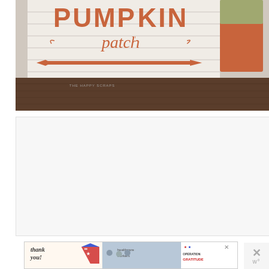[Figure (photo): Photo of a white wooden sign with orange text reading 'PUMPKIN patch' and an arrow pointing right, leaning against a dark wood floor. An orange wooden pumpkin decoration is to the right. Watermark reads 'THE HAPPY SCRAPS'.]
[Figure (photo): Advertisement banner for 'Operation Gratitude' featuring a 'Thank you!' note with patriotic pencil graphic on the left, healthcare workers holding books/cards in the center, and the Operation Gratitude logo on the right.]